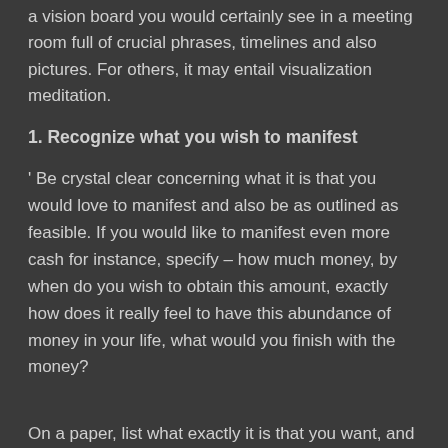a vision board you would certainly see in a meeting room full of crucial phrases, timelines and also pictures. For others, it may entail visualization meditation.
1. Recognize what you wish to manifest
' Be crystal clear concerning what it is that you would love to manifest and also be as outlined as feasible. If you would like to manifest even more cash for instance, specify – how much money, by when do you wish to obtain this amount, exactly how does it really feel to have this abundance of money in your life, what would you finish with the money?
On a paper, list what exactly it is that you want, and